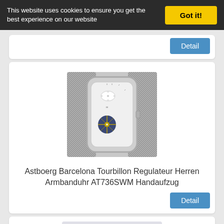This website uses cookies to ensure you get the best experience on our website
Got it!
Detail
[Figure (photo): Astboerg Barcelona Tourbillon watch - silver mesh bracelet with square case and visible tourbillon movement]
Astboerg Barcelona Tourbillon Regulateur Herren Armbanduhr AT736SWM Handaufzug
Detail
[Figure (photo): Astboerg Monza Herren Chronograph watch - square case with dark blue dial and black leather strap]
Astboerg Monza Herren Chronograph Automatik